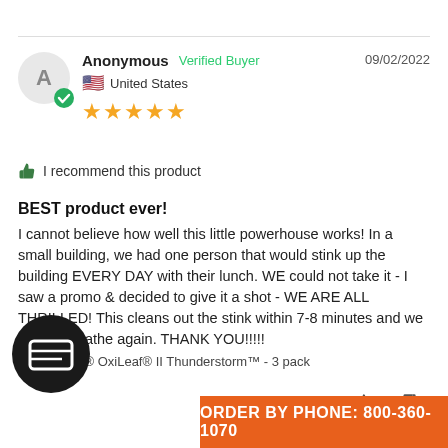Anonymous  Verified Buyer  09/02/2022  United States  ★★★★★
👍 I recommend this product
BEST product ever!
I cannot believe how well this little powerhouse works! In a small building, we had one person that would stink up the building EVERY DAY with their lunch. WE could not take it - I saw a promo & decided to give it a shot - WE ARE ALL THRILLED! This cleans out the stink within 7-8 minutes and we can all breathe again. THANK YOU!!!!!
EdenPURE® OxiLeaf® II Thunderstorm™ - 3 pack
Was this helpful?  👍 0  👎 0
ORDER BY PHONE: 800-360-1070